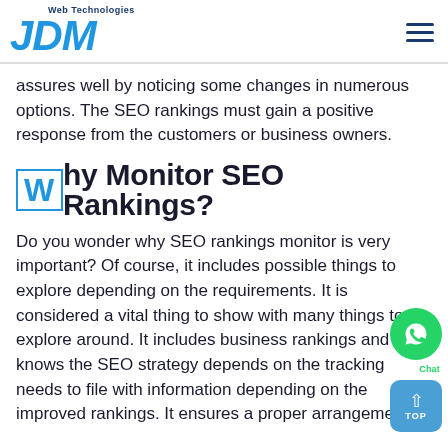JDM Web Technologies
assures well by noticing some changes in numerous options. The SEO rankings must gain a positive response from the customers or business owners.
Why Monitor SEO Rankings?
Do you wonder why SEO rankings monitor is very important? Of course, it includes possible things to explore depending on the requirements. It is considered a vital thing to show with many things to explore around. It includes business rankings and knows the SEO strategy depends on the tracking needs to file with information depending on the improved rankings. It ensures a proper arrangement